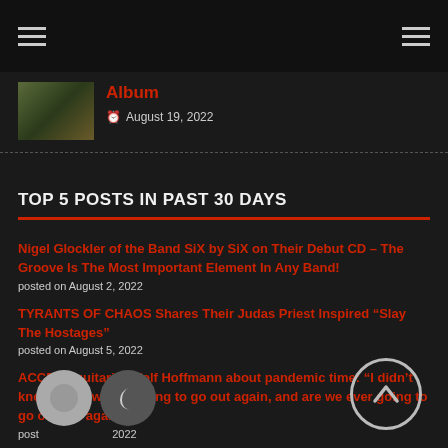Navigation header with hamburger menus
Album
August 19, 2022
TOP 5 POSTS IN PAST 30 DAYS
Nigel Glockler of the Band SiX by SiX on Their Debut CD – The Groove Is The Most Important Element In Any Band!
posted on August 2, 2022
TYRANTS OF CHAOS Shares Their Judas Priest Inspired "Slay The Hostages"
posted on August 5, 2022
ACCEPT guitarist Wolf Hoffmann about pandemic time: "I didn't know when we are going to go out again, and are we ever going to go on tour again?"
posted on [date] 2022
COPENHELL Festival 2022 feat. Metallica, KISS, Iron Maiden, Mercyful Fate, Judas Priest and more